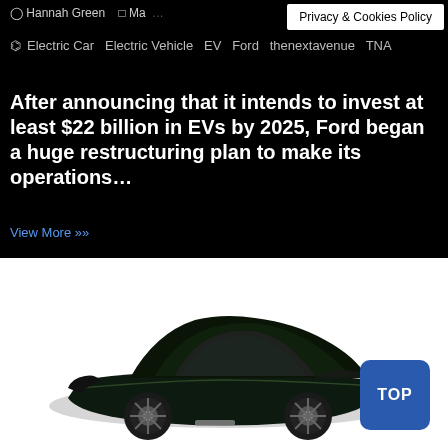Hannah Green   Ma...
Privacy & Cookies Policy
Electric Car  Electric Vehicle  EV  Ford  thenextavenue  TNA
After announcing that it intends to invest at least $22 billion in EVs by 2025, Ford began a huge restructuring plan to make its operations...
View More »»
[Figure (photo): Dark green electric car (Nissan Ariya) photographed from a three-quarter front angle on a white background]